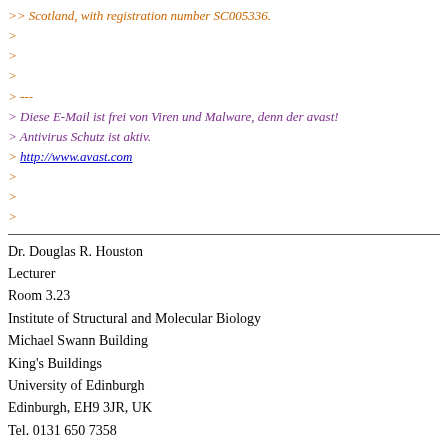>> Scotland, with registration number SC005336.
>
>
>
> ---
> Diese E-Mail ist frei von Viren und Malware, denn der avast!
> Antivirus Schutz ist aktiv.
> http://www.avast.com
>
>
>
Dr. Douglas R. Houston
Lecturer
Room 3.23
Institute of Structural and Molecular Biology
Michael Swann Building
King's Buildings
University of Edinburgh
Edinburgh, EH9 3JR, UK
Tel. 0131 650 7358
--
The University of Edinburgh is a charitable body, registered in Scotland, with registration number SC005336.